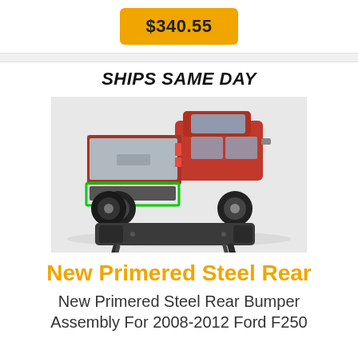$340.55
[Figure (photo): Product listing image showing a red Ford F250 pickup truck from the rear angle with a green rectangle highlighting the rear bumper area, and below it an isolated image of the new primered steel rear bumper assembly with mounting brackets.]
SHIPS SAME DAY
New Primered Steel Rear
New Primered Steel Rear Bumper Assembly For 2008-2012 Ford F250